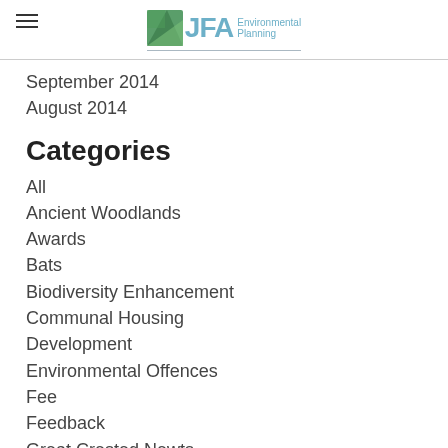JFA Environmental Planning
September 2014
August 2014
Categories
All
Ancient Woodlands
Awards
Bats
Biodiversity Enhancement
Communal Housing
Development
Environmental Offences
Fee
Feedback
Great Crested Newts
Green Roof
Green Walls